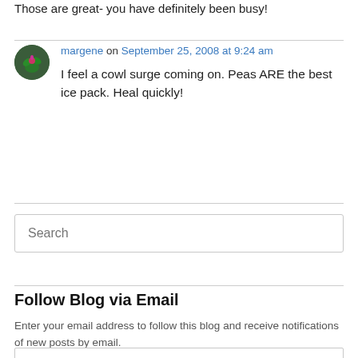Those are great- you have definitely been busy!
margene on September 25, 2008 at 9:24 am
I feel a cowl surge coming on. Peas ARE the best ice pack. Heal quickly!
Search
Follow Blog via Email
Enter your email address to follow this blog and receive notifications of new posts by email.